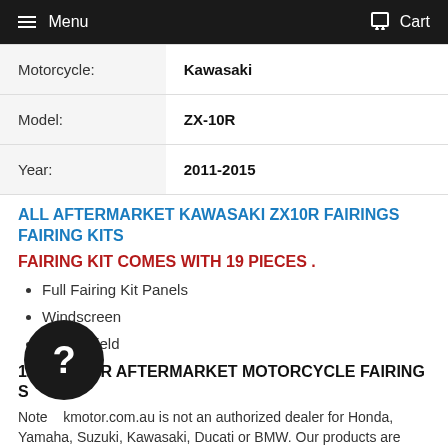Menu   Cart
| Motorcycle: | Kawasaki |
| Model: | ZX-10R |
| Year: | 2011-2015 |
ALL AFTERMARKET KAWASAKI ZX10R FAIRINGS FAIRING KITS
FAIRING KIT COMES WITH 19 PIECES .
Full Fairing Kit Panels
Windscreen
Heat Shield
12K MOTOR AFTERMARKET MOTORCYCLE FAIRING SUPPLIER
Note: 12kmotor.com.au is not an authorized dealer for Honda, Yamaha, Suzuki, Kawasaki, Ducati or BMW. Our products are